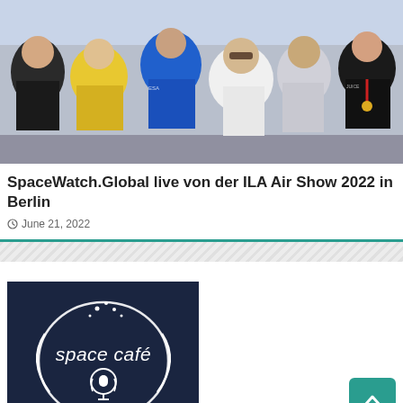[Figure (photo): Group photo of several people at the ILA Air Show 2022 in Berlin, wearing branded shirts including yellow, blue, and black SpaceWatch/Juice/other space organization shirts, standing outdoors.]
SpaceWatch.Global live von der ILA Air Show 2022 in Berlin
June 21, 2022
[Figure (logo): Space Café Podcast logo on dark navy background with circular orbit lines, stars, and podcast microphone icon. Text reads 'space café' and 'Podcast'.]